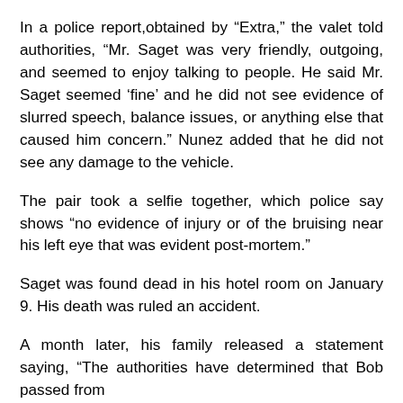In a police report,obtained by “Extra,” the valet told authorities, “Mr. Saget was very friendly, outgoing, and seemed to enjoy talking to people. He said Mr. Saget seemed ‘fine’ and he did not see evidence of slurred speech, balance issues, or anything else that caused him concern.” Nunez added that he did not see any damage to the vehicle.
The pair took a selfie together, which police say shows “no evidence of injury or of the bruising near his left eye that was evident post-mortem.”
Saget was found dead in his hotel room on January 9. His death was ruled an accident.
A month later, his family released a statement saying, “The authorities have determined that Bob passed from